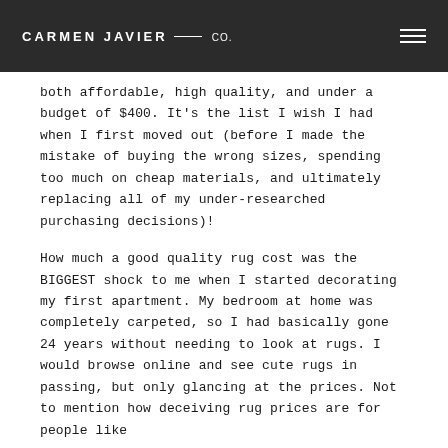CARMEN JAVIER — CO.
both affordable, high quality, and under a budget of $400. It's the list I wish I had when I first moved out (before I made the mistake of buying the wrong sizes, spending too much on cheap materials, and ultimately replacing all of my under-researched purchasing decisions)!
How much a good quality rug cost was the BIGGEST shock to me when I started decorating my first apartment. My bedroom at home was completely carpeted, so I had basically gone 24 years without needing to look at rugs. I would browse online and see cute rugs in passing, but only glancing at the prices. Not to mention how deceiving rug prices are for people like